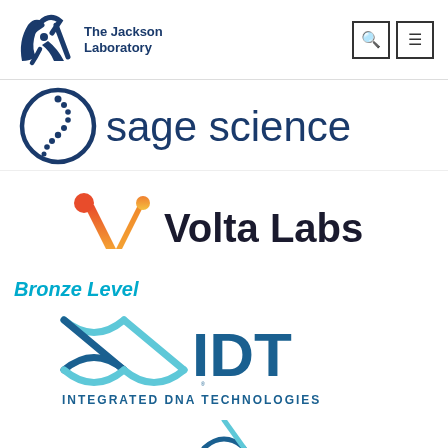[Figure (logo): The Jackson Laboratory logo with stylized JAX letters and search/menu icons in header]
[Figure (logo): Sage Science logo with circular spine graphic and 'sage science' text in dark blue]
[Figure (logo): Volta Labs logo with orange-red gradient V-shape molecule icon and 'Volta Labs' dark text]
Bronze Level
[Figure (logo): IDT Integrated DNA Technologies logo with blue DNA double helix and text]
[Figure (logo): Partial logo visible at bottom of page]